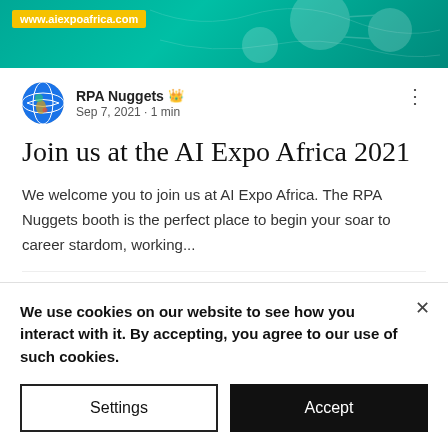[Figure (illustration): AI Expo Africa banner with teal/green background, www.aiexpoafrica.com URL label in yellow, decorative tech icons]
RPA Nuggets 👑
Sep 7, 2021 · 1 min
Join us at the AI Expo Africa 2021
We welcome you to join us at AI Expo Africa. The RPA Nuggets booth is the perfect place to begin your soar to career stardom, working...
👁 11   💬 0   ♡
We use cookies on our website to see how you interact with it. By accepting, you agree to our use of such cookies.
Settings   Accept